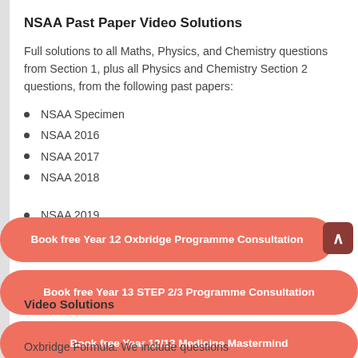NSAA Past Paper Video Solutions
Full solutions to all Maths, Physics, and Chemistry questions from Section 1, plus all Physics and Chemistry Section 2 questions, from the following past papers:
NSAA Specimen
NSAA 2016
NSAA 2017
NSAA 2018
NSAA 2019
Book free Year 12 Oxbridge Programme Consultation
Book free Year 13 STEP 2/3 Programme Consultation
Video Solutions
Book free Year 12/13 Medicine Mastermind
Oxbridge Formula. We include questions